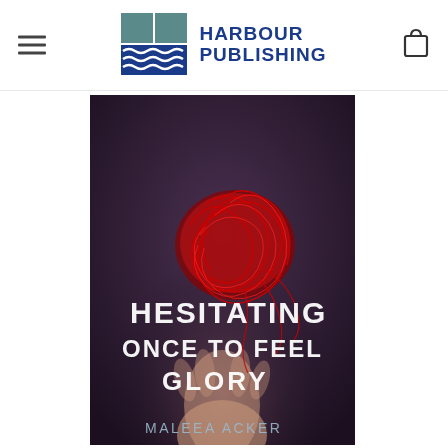[Figure (logo): Harbour Publishing logo with teal/blue book icon and bold blue text reading HARBOUR PUBLISHING]
[Figure (photo): Book cover of 'Hesitating Once to Feel Glory' by Maleea Acker. Dark purple/grey background with a hand holding a tangled ball of red yarn/thread. Title text in white sans-serif capitals: HESITATING ONCE TO FEEL GLORY. Author name at bottom: MALEEA ACKER.]